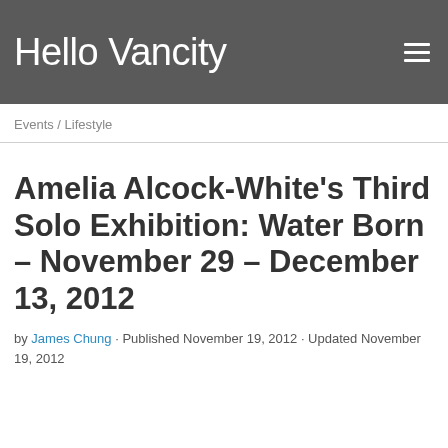Hello Vancity
Events / Lifestyle
Amelia Alcock-White's Third Solo Exhibition: Water Born – November 29 – December 13, 2012
by James Chung · Published November 19, 2012 · Updated November 19, 2012